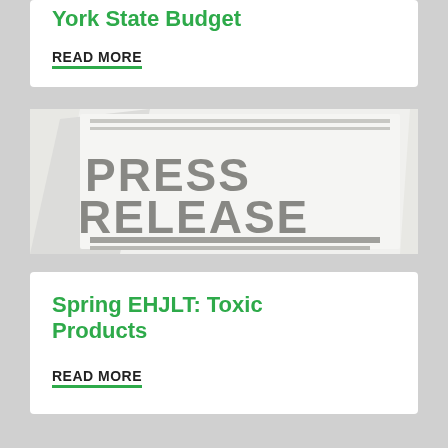York State Budget
READ MORE
[Figure (photo): Press release newspaper with the text PRESS RELEASE printed in large bold gray letters on a white/light gray folded newspaper]
Spring EHJLT: Toxic Products
READ MORE